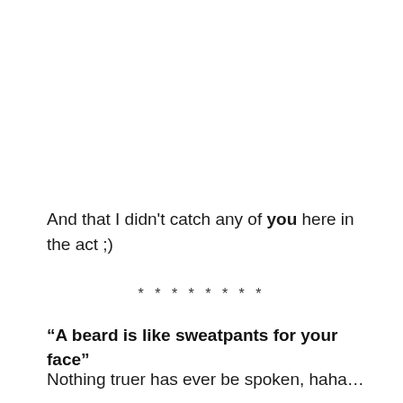And that I didn't catch any of you here in the act ;)
* * * * * * * *
“A beard is like sweatpants for your face”
Nothing truer has ever be spoken, haha…
“I pride of your…” (cut off)